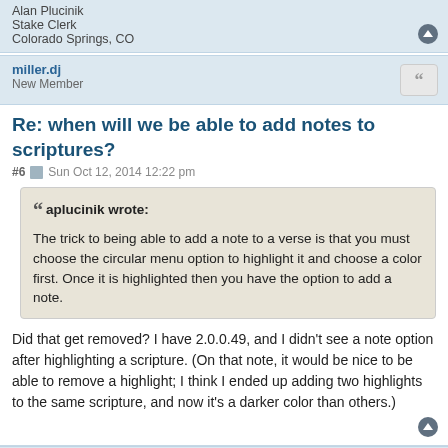Alan Plucinik
Stake Clerk
Colorado Springs, CO
miller.dj
New Member
Re: when will we be able to add notes to scriptures?
#6  Sun Oct 12, 2014 12:22 pm
aplucinik wrote:
The trick to being able to add a note to a verse is that you must choose the circular menu option to highlight it and choose a color first. Once it is highlighted then you have the option to add a note.
Did that get removed? I have 2.0.0.49, and I didn't see a note option after highlighting a scripture. (On that note, it would be nice to be able to remove a highlight; I think I ended up adding two highlights to the same scripture, and now it's a darker color than others.)
ToManyLetters
Senior Member
Re: when will we be able to add notes to scriptures?